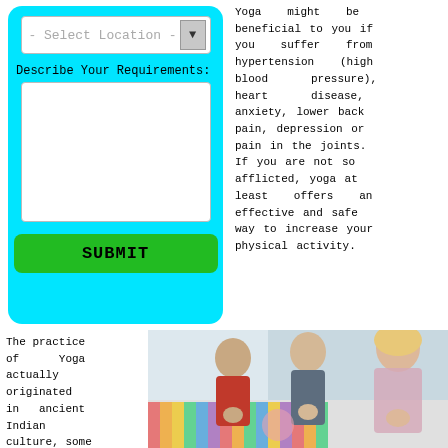[Figure (screenshot): Web form with cyan/turquoise background containing a location dropdown selector and a textarea for requirements, with a green SUBMIT button]
Yoga might be beneficial to you if you suffer from hypertension (high blood pressure), heart disease, anxiety, lower back pain, depression or pain in the joints. If you are not so afflicted, yoga at least offers an effective and safe way to increase your physical activity.
The practice of Yoga actually originated in ancient Indian culture, some
[Figure (photo): Photo of three people practicing yoga in a studio, sitting in meditation pose with hands in prayer position. Two men and one woman, colorful striped wall in background.]
By using this website you are agreeing to the use of third-party cookies Learn More OK